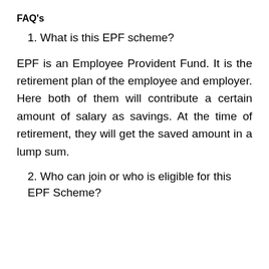FAQ's
1. What is this EPF scheme?
EPF is an Employee Provident Fund. It is the retirement plan of the employee and employer. Here both of them will contribute a certain amount of salary as savings. At the time of retirement, they will get the saved amount in a lump sum.
2. Who can join or who is eligible for this EPF Scheme?